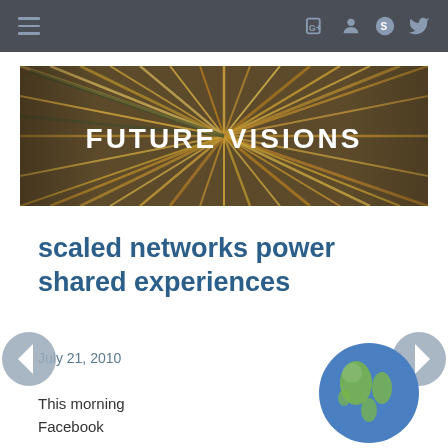≡  G+  [user]  S  [twitter]
[Figure (photo): Banner image with radial burst of golden/brown lines (abstract book pages fanning out), with centered white text: FUTURE VISIONS]
scaled networks power shared experiences
July 21, 2010
This morning Facebook